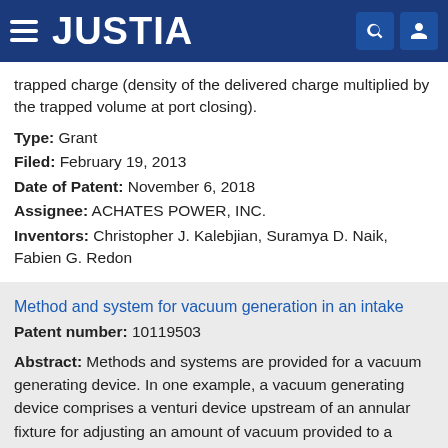JUSTIA
trapped charge (density of the delivered charge multiplied by the trapped volume at port closing).
Type: Grant
Filed: February 19, 2013
Date of Patent: November 6, 2018
Assignee: ACHATES POWER, INC.
Inventors: Christopher J. Kalebjian, Suramya D. Naik, Fabien G. Redon
Method and system for vacuum generation in an intake
Patent number: 10119503
Abstract: Methods and systems are provided for a vacuum generating device. In one example, a vacuum generating device comprises a venturi device upstream of an annular fixture for adjusting an amount of vacuum provided to a vacuum consumption device.